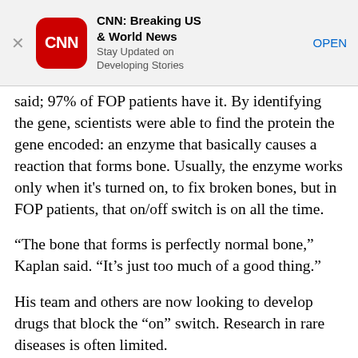[Figure (screenshot): CNN app advertisement banner with close button (X), CNN red rounded-square logo, title 'CNN: Breaking US & World News', subtitle 'Stay Updated on Developing Stories', and 'OPEN' button link]
said; 97% of FOP patients have it. By identifying the gene, scientists were able to find the protein the gene encoded: an enzyme that basically causes a reaction that forms bone. Usually, the enzyme works only when it's turned on, to fix broken bones, but in FOP patients, that on/off switch is on all the time.
“The bone that forms is perfectly normal bone,” Kaplan said. “It’s just too much of a good thing.”
His team and others are now looking to develop drugs that block the “on” switch. Research in rare diseases is often limited.
Kaplan first became interested in FOP when he saw